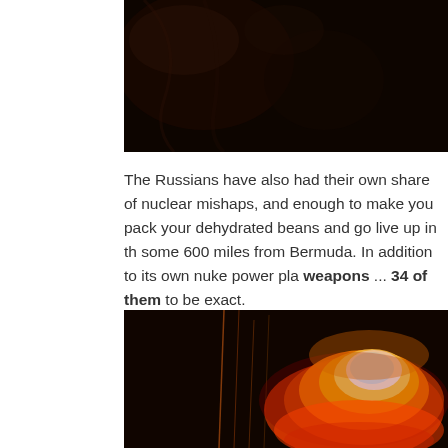[Figure (photo): Dark image, partially visible, appears to be a close-up of a dark object against a black background]
The Russians have also had their own share of nuclear mishaps, and enough to make you pack your dehydrated beans and go live up in the some 600 miles from Bermuda. In addition to its own nuke power pla... weapons ... 34 of them to be exact.
[Figure (photo): Nuclear explosion photograph showing bright orange, yellow and white fireball mushroom cloud against a dark background with streaks of light]